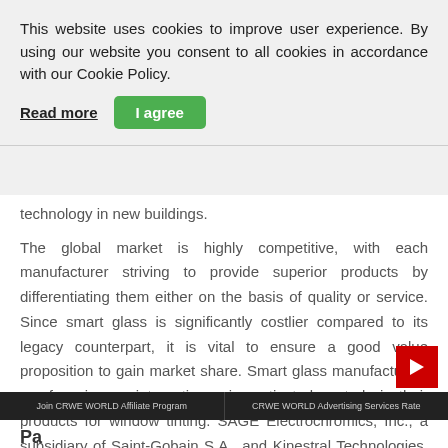This website uses cookies to improve user experience. By using our website you consent to all cookies in accordance with our Cookie Policy.
Read more  I agree
technology in new buildings.
The global market is highly competitive, with each manufacturer striving to provide superior products by differentiating them either on the basis of quality or service. Since smart glass is significantly costlier compared to its legacy counterpart, it is vital to ensure a good value proposition to gain market share. Smart glass manufacturers are focusing on integrating voice-activated controls in their products for window tinting. SAGE Electrochromics, Inc., a subsidiary of Saint-Gobain S.A., and Kinestral Technologies, Inc. are providing Amazon echo voice-activated technology for smart glass.
Join CRWE WORLD Affiliate Program  |  CRWE WORLD Advertising Services Rate